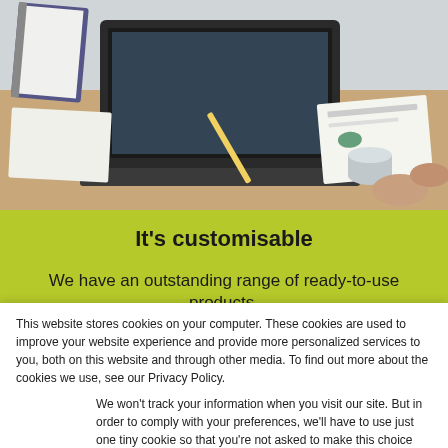[Figure (photo): Office desk scene with laptop, papers with charts, hands of people in a business meeting setting]
It's customisable
We have an outstanding range of ready-to-use products,
This website stores cookies on your computer. These cookies are used to improve your website experience and provide more personalized services to you, both on this website and through other media. To find out more about the cookies we use, see our Privacy Policy.
We won't track your information when you visit our site. But in order to comply with your preferences, we'll have to use just one tiny cookie so that you're not asked to make this choice again.